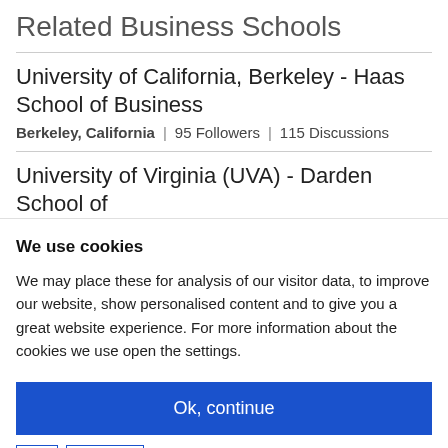Related Business Schools
University of California, Berkeley - Haas School of Business
Berkeley, California | 95 Followers | 115 Discussions
University of Virginia (UVA) - Darden School of
We use cookies
We may place these for analysis of our visitor data, to improve our website, show personalised content and to give you a great website experience. For more information about the cookies we use open the settings.
Ok, continue
Deny
No, adjust